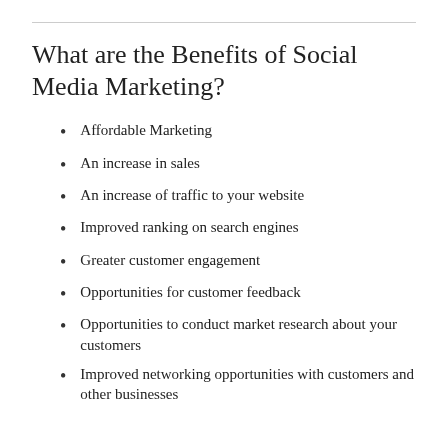What are the Benefits of Social Media Marketing?
Affordable Marketing
An increase in sales
An increase of traffic to your website
Improved ranking on search engines
Greater customer engagement
Opportunities for customer feedback
Opportunities to conduct market research about your customers
Improved networking opportunities with customers and other businesses